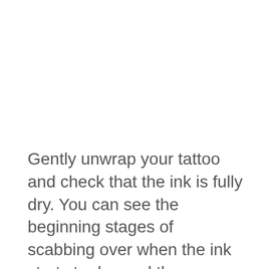Gently unwrap your tattoo and check that the ink is fully dry. You can see the beginning stages of scabbing over when the ink starts to dry, and there should be very little ink leaking from the tattoo.